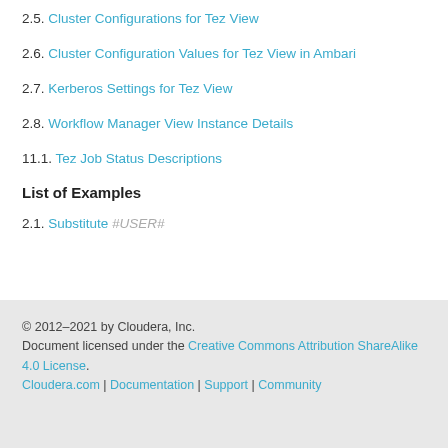2.5. Cluster Configurations for Tez View
2.6. Cluster Configuration Values for Tez View in Ambari
2.7. Kerberos Settings for Tez View
2.8. Workflow Manager View Instance Details
11.1. Tez Job Status Descriptions
List of Examples
2.1. Substitute #USER#
© 2012–2021 by Cloudera, Inc.
Document licensed under the Creative Commons Attribution ShareAlike 4.0 License.
Cloudera.com | Documentation | Support | Community